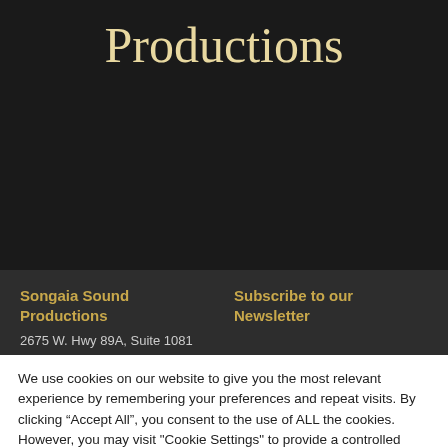Productions
Songaia Sound Productions
Subscribe to our Newsletter
2675 W. Hwy 89A, Suite 1081
We use cookies on our website to give you the most relevant experience by remembering your preferences and repeat visits. By clicking “Accept All”, you consent to the use of ALL the cookies. However, you may visit "Cookie Settings" to provide a controlled consent.
Cookie Settings
Accept All